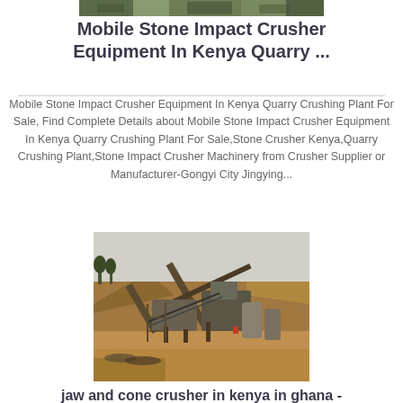[Figure (photo): Top cropped photo of mobile stone crusher equipment at a quarry site]
Mobile Stone Impact Crusher Equipment In Kenya Quarry ...
Mobile Stone Impact Crusher Equipment In Kenya Quarry Crushing Plant For Sale, Find Complete Details about Mobile Stone Impact Crusher Equipment In Kenya Quarry Crushing Plant For Sale,Stone Crusher Kenya,Quarry Crushing Plant,Stone Impact Crusher Machinery from Crusher Supplier or Manufacturer-Gongyi City Jingying...
[Figure (photo): Photograph of a large quarry stone crushing plant with conveyor belts, machinery, and earthen surroundings]
jaw and cone crusher in kenya in ghana -